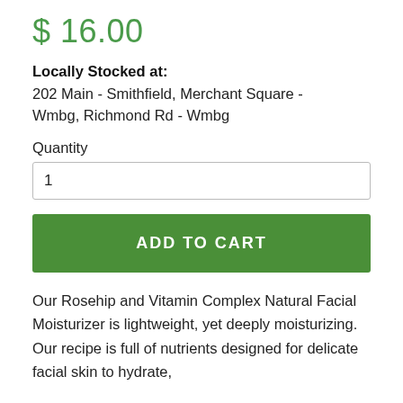$ 16.00
Locally Stocked at:
202 Main - Smithfield, Merchant Square - Wmbg, Richmond Rd - Wmbg
Quantity
1
ADD TO CART
Our Rosehip and Vitamin Complex Natural Facial Moisturizer is lightweight, yet deeply moisturizing. Our recipe is full of nutrients designed for delicate facial skin to hydrate,